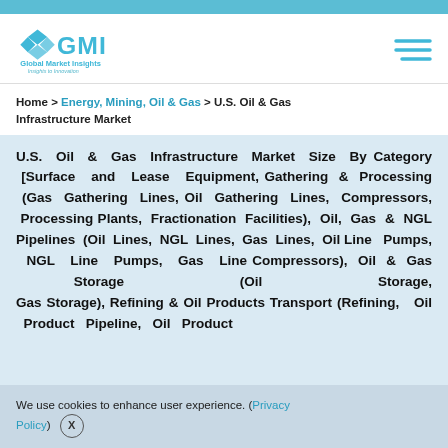GMI – Global Market Insights – Insights to Innovation
Home > Energy, Mining, Oil & Gas > U.S. Oil & Gas Infrastructure Market
U.S. Oil & Gas Infrastructure Market Size By Category [Surface and Lease Equipment, Gathering & Processing (Gas Gathering Lines, Oil Gathering Lines, Compressors, Processing Plants, Fractionation Facilities), Oil, Gas & NGL Pipelines (Oil Lines, NGL Lines, Gas Lines, Oil Line Pumps, NGL Line Pumps, Gas Line Compressors), Oil & Gas Storage (Oil Storage, Gas Storage), Refining & Oil Products Transport (Refining, Oil Product Pipeline, Oil Product
We use cookies to enhance user experience. (Privacy Policy) X